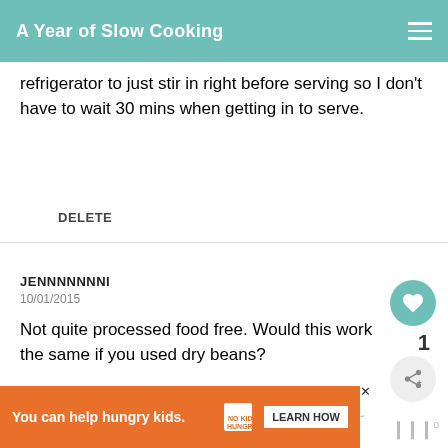A Year of Slow Cooking
refrigerator to just stir in right before serving so I don't have to wait 30 mins when getting in to serve.
DELETE
JENNNNNNNI
10/01/2015
Not quite processed food free. Would this work the same if you used dry beans?
WHAT'S NEXT → Find a recipe
You can help hungry kids. NO KID HUNGRY LEARN HOW